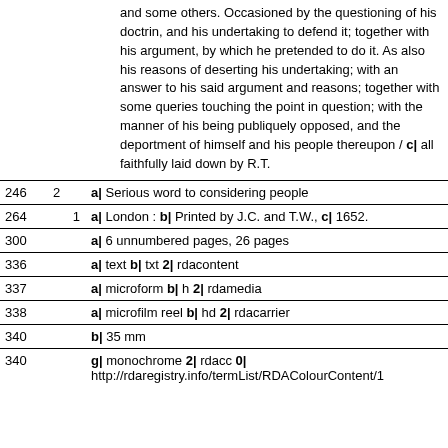and some others. Occasioned by the questioning of his doctrin, and his undertaking to defend it; together with his argument, by which he pretended to do it. As also his reasons of deserting his undertaking; with an answer to his said argument and reasons; together with some queries touching the point in question; with the manner of his being publiquely opposed, and the deportment of himself and his people thereupon / c| all faithfully laid down by R.T.
| 246 | 2 | a| Serious word to considering people |
| 264 | 1 | a| London : b| Printed by J.C. and T.W., c| 1652. |
| 300 |  | a| 6 unnumbered pages, 26 pages |
| 336 |  | a| text b| txt 2| rdacontent |
| 337 |  | a| microform b| h 2| rdamedia |
| 338 |  | a| microfilm reel b| hd 2| rdacarrier |
| 340 |  | b| 35 mm |
| 340 |  | g| monochrome 2| rdacc 0| http://rdaregistry.info/termList/RDAColourContent/1... |